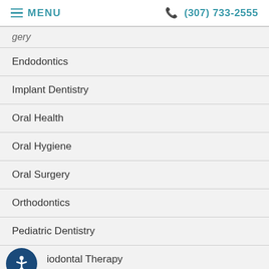MENU  (307) 733-2555
[partial item above]
Endodontics
Implant Dentistry
Oral Health
Oral Hygiene
Oral Surgery
Orthodontics
Pediatric Dentistry
Periodontal Therapy
Technology